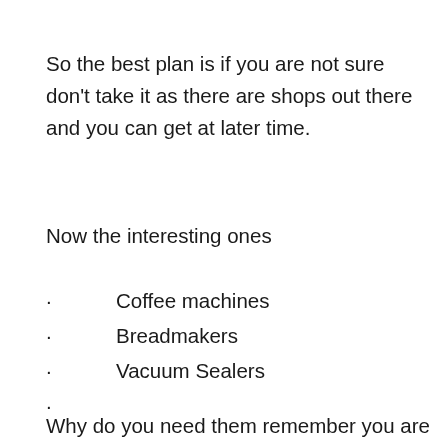So the best plan is if you are not sure don’t take it as there are shops out there and you can get at later time.
Now the interesting ones
Coffee machines
Breadmakers
Vacuum Sealers
Why do you need them remember you are travelling, unless you just can’t do without that coffee machine